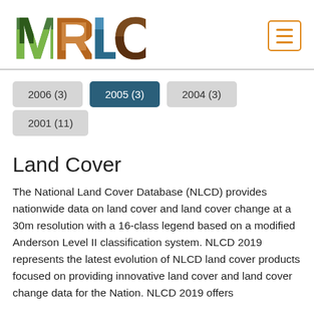[Figure (logo): MRLC logo with nature-themed letter fills (M=forest green, R=brown/orange, L=blue water, C=brown soil)]
2006 (3)
2005 (3)
2004 (3)
2001 (11)
Land Cover
The National Land Cover Database (NLCD) provides nationwide data on land cover and land cover change at a 30m resolution with a 16-class legend based on a modified Anderson Level II classification system. NLCD 2019 represents the latest evolution of NLCD land cover products focused on providing innovative land cover and land cover change data for the Nation. NLCD 2019 offers